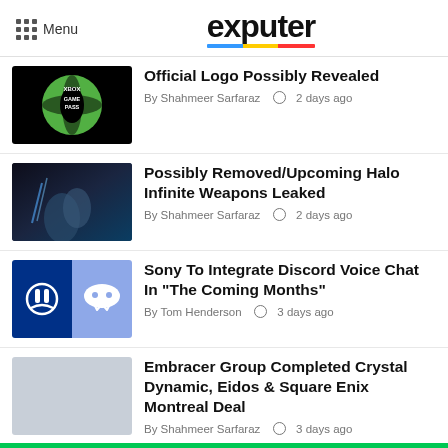Menu | exputer
Official Logo Possibly Revealed | By Shahmeer Sarfaraz | 2 days ago
Possibly Removed/Upcoming Halo Infinite Weapons Leaked | By Shahmeer Sarfaraz | 2 days ago
Sony To Integrate Discord Voice Chat In "The Coming Months" | By Tom Henderson | 3 days ago
Embracer Group Completed Crystal Dynamic, Eidos & Square Enix Montreal Deal | By Shahmeer Sarfaraz | 3 days ago
Steam Deck And SteamOS Future Laid